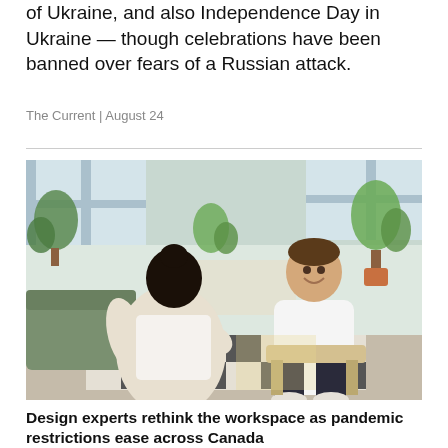of Ukraine, and also Independence Day in Ukraine — though celebrations have been banned over fears of a Russian attack.
The Current | August 24
[Figure (photo): Two people having a conversation in a modern, plant-filled office lounge space. One person in white sits with back to camera, facing a smiling man in a white hoodie seated across from them.]
Design experts rethink the workspace as pandemic restrictions ease across Canada